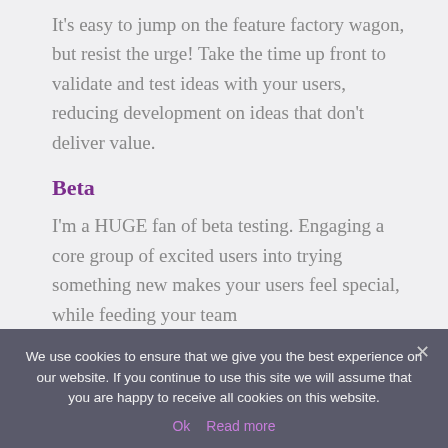It's easy to jump on the feature factory wagon, but resist the urge! Take the time up front to validate and test ideas with your users, reducing development on ideas that don't deliver value.
Beta
I'm a HUGE fan of beta testing. Engaging a core group of excited users into trying something new makes your users feel special, while feeding your team more concrete data on the performance and…
We use cookies to ensure that we give you the best experience on our website. If you continue to use this site we will assume that you are happy to receive all cookies on this website.